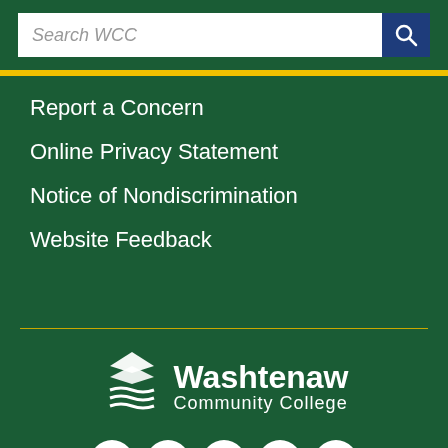[Figure (screenshot): Search bar with text 'Search WCC' and blue search button with magnifying glass icon]
Report a Concern
Online Privacy Statement
Notice of Nondiscrimination
Website Feedback
[Figure (logo): Washtenaw Community College logo with stacked book/wave icon in white on dark green, with Facebook, Instagram, Flickr, YouTube, and LinkedIn social media icon circles below]